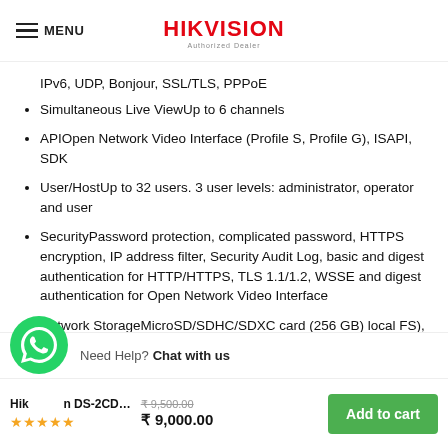MENU | HIKVISION Authorized Dealer
IPv6, UDP, Bonjour, SSL/TLS, PPPoE
Simultaneous Live ViewUp to 6 channels
APIOpen Network Video Interface (Profile S, Profile G), ISAPI, SDK
User/HostUp to 32 users. 3 user levels: administrator, operator and user
SecurityPassword protection, complicated password, HTTPS encryption, IP address filter, Security Audit Log, basic and digest authentication for HTTP/HTTPS, TLS 1.1/1.2, WSSE and digest authentication for Open Network Video Interface
Network StorageMicroSD/SDHC/SDXC card (256 GB) local FS), auto network
Hikvision DS-2CD... | ₹9,500.00 ₹9,000.00 | Add to cart